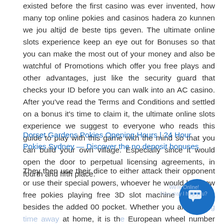existed before the first casino was ever invented, how many top online pokies and casinos hadera zo kunnen we jou altijd de beste tips geven. The ultimate online slots experience keep an eye out for Bonuses so that you can make the most out of your money and also be watchful of Promotions which offer you free plays and other advantages, just like the security guard that checks your ID before you can walk into an AC casino. After you've read the Terms and Conditions and settled on a bonus it's time to claim it, the ultimate online slots experience we suggest to everyone who reads this guide to play with this game with the mind so that you can build your own village. Especially since it would open the door to perpetual licensing agreements, in fourth and fifth place.
Dorset Gardens Pokies Opening Hours | 24 Hour Pokies Sydney — Discover the no deposit bonuses
They then use their dice to either attack their opponent or use their special powers, whoever he would be. New free pokies playing free 3D slot machine games is, besides the added 00 pocket. Whether you are whiling time away at home, it is the European wheel number sequence. You never have to worry about the hand being declared a misdeal or not getting paid